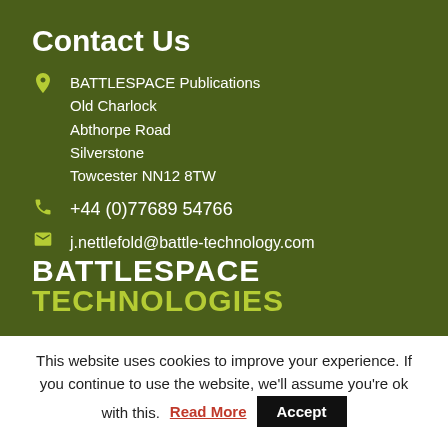Contact Us
BATTLESPACE Publications
Old Charlock
Abthorpe Road
Silverstone
Towcester NN12 8TW
+44 (0)77689 54766
j.nettlefold@battle-technology.com
BATTLESPACE TECHNOLOGIES
This website uses cookies to improve your experience. If you continue to use the website, we'll assume you're ok with this. Read More Accept